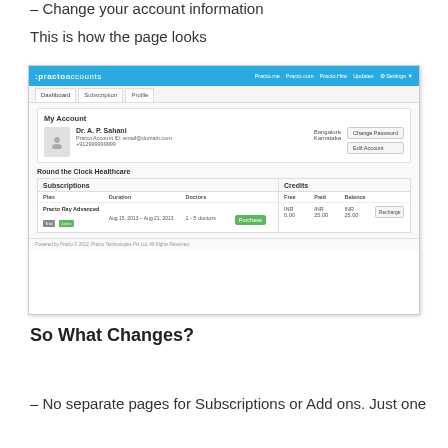– Change your account information
This is how the page looks
[Figure (screenshot): Screenshot of Practo Accounts page showing My Account section with Dr. A. P. Sahani profile, Bangalore Karnataka location, Change Password and Edit Account buttons, and a Subscriptions/Credits table below with Round the Clock Healthcare plan.]
So What Changes?
– No separate pages for Subscriptions or Add ons. Just one